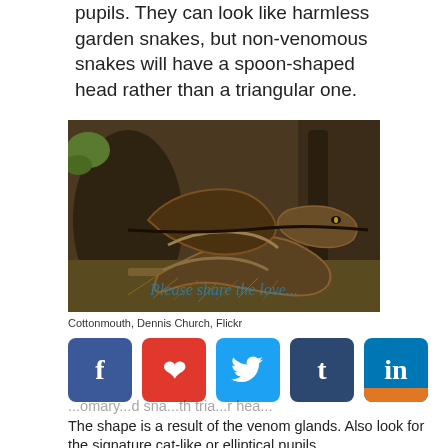pupils. They can look like harmless garden snakes, but non-venomous snakes will have a spoon-shaped head rather than a triangular one.
[Figure (photo): Close-up photograph of a Cottonmouth snake coiled near tree bark and pine needles, with a 'Please share the love' watermark overlay.]
Cottonmouth, Dennis Church, Flickr
[Figure (infographic): Social media sharing buttons: Facebook (blue), Pinterest (red), Twitter (light blue), Tumblr (dark blue), LinkedIn (blue with orange stripe)]
...omary...d sna...th tria...r hea... The shape is a result of the venom glands. Also look for the signature cat-like or elliptical pupils.